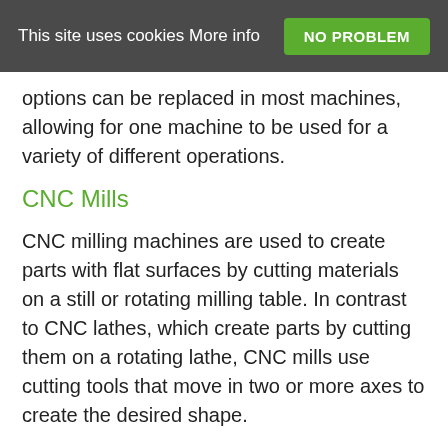This site uses cookies More info  NO PROBLEM
options can be replaced in most machines, allowing for one machine to be used for a variety of different operations.
CNC Mills
CNC milling machines are used to create parts with flat surfaces by cutting materials on a still or rotating milling table. In contrast to CNC lathes, which create parts by cutting them on a rotating lathe, CNC mills use cutting tools that move in two or more axes to create the desired shape.
Mills can be equipped with a variety